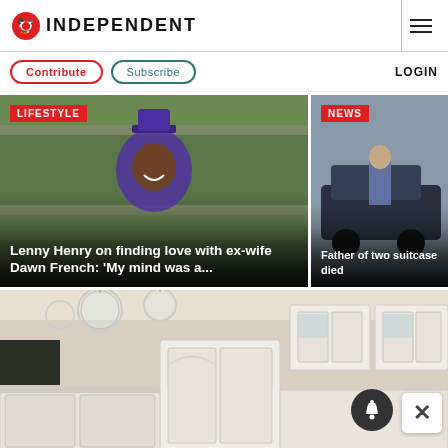INDEPENDENT
Contribute  Subscribe  LOGIN
[Figure (photo): Man in purple suit and top hat smiling outdoors with stone wall in background — Lenny Henry article photo with LIFESTYLE tag]
Lenny Henry on finding love with ex-wife Dawn French: 'My mind was a...
[Figure (photo): Man standing next to dark SUV vehicle outdoors — Father of two article photo with NEWS tag]
Father of two suitcase died
[Figure (photo): White kitchen interior with glass pendant lights and white cabinets]